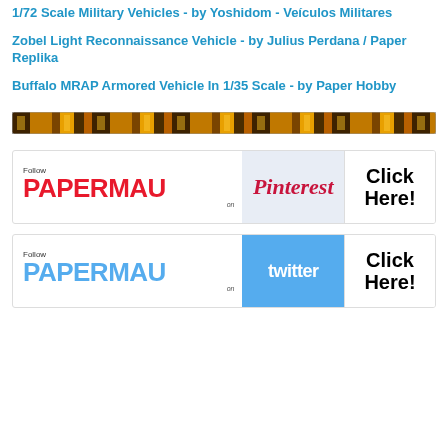1/72 Scale Military Vehicles - by Yoshidom - Veículos Militares
Zobel Light Reconnaissance Vehicle - by Julius Perdana / Paper Replika
Buffalo MRAP Armored Vehicle In 1/35 Scale - by Paper Hobby
[Figure (illustration): Decorative banner strip with repeating ornate pattern in gold and brown tones]
[Figure (infographic): Follow PAPERMAU on Pinterest - Click Here! social media banner]
[Figure (infographic): Follow PAPERMAU on Twitter - Click Here! social media banner]